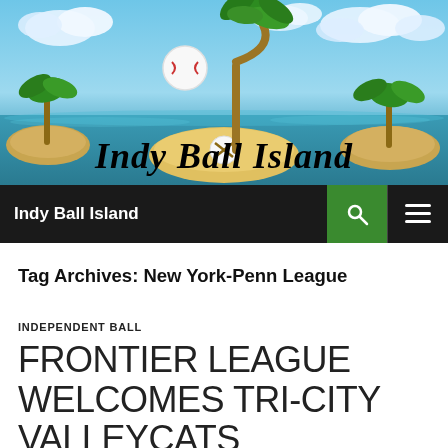[Figure (illustration): Indy Ball Island website header banner featuring a tropical island scene with palm trees, a baseball, ocean water, clouds, and the cursive text 'Indy Ball Island' in black script.]
Indy Ball Island
Tag Archives: New York-Penn League
INDEPENDENT BALL
FRONTIER LEAGUE WELCOMES TRI-CITY VALLEYCATS